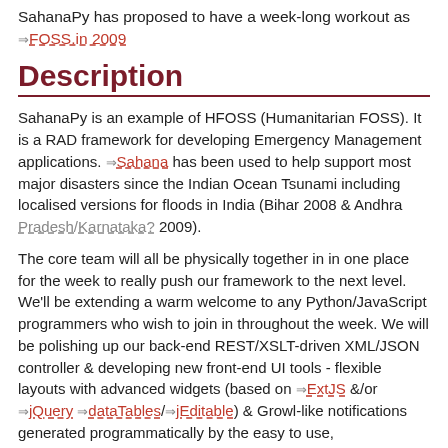SahanaPy has proposed to have a week-long workout as ⇒ FOSS.in 2009
Description
SahanaPy is an example of HFOSS (Humanitarian FOSS). It is a RAD framework for developing Emergency Management applications. ⇒Sahana has been used to help support most major disasters since the Indian Ocean Tsunami including localised versions for floods in India (Bihar 2008 & Andhra Pradesh/Karnataka? 2009).
The core team will all be physically together in in one place for the week to really push our framework to the next level. We'll be extending a warm welcome to any Python/JavaScript programmers who wish to join in throughout the week. We will be polishing up our back-end REST/XSLT-driven XML/JSON controller & developing new front-end UI tools - flexible layouts with advanced widgets (based on ⇒ExtJS &/or ⇒jQuery ⇒dataTables/⇒jEditable) & Growl-like notifications generated programmatically by the easy to use,